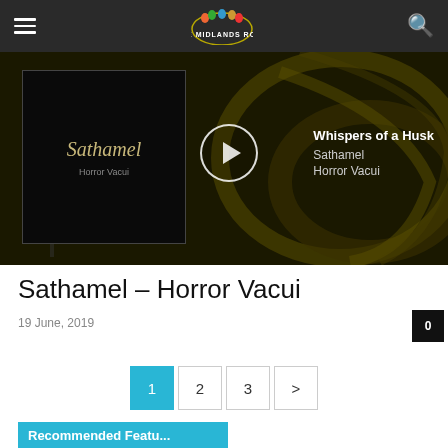The Midlands Rock
[Figure (screenshot): Music player showing album art for Sathamel Horror Vacui with play button and track info: Whispers of a Husk, Sathamel, Horror Vacui]
Sathamel – Horror Vacui
19 June, 2019
0
1
2
3
>
Recommended Featu...